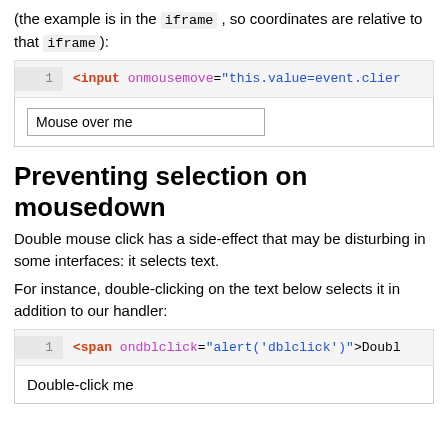(the example is in the iframe, so coordinates are relative to that iframe):
[Figure (screenshot): Code box showing: 1  <input onmousemove="this.value=event.clier...]
[Figure (screenshot): Demo box with input field labeled 'Mouse over me']
Preventing selection on mousedown
Double mouse click has a side-effect that may be disturbing in some interfaces: it selects text.
For instance, double-clicking on the text below selects it in addition to our handler:
[Figure (screenshot): Code box showing: 1  <span ondblclick="alert('dblclick')">Doubl...]
[Figure (screenshot): Demo box with text 'Double-click me']